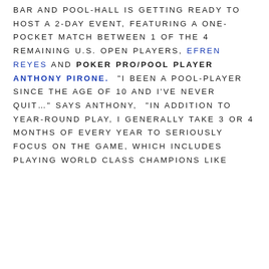BAR AND POOL-HALL IS GETTING READY TO HOST A 2-DAY EVENT, FEATURING A ONE-POCKET MATCH BETWEEN 1 OF THE 4 REMAINING U.S. OPEN PLAYERS, EFREN REYES AND POKER PRO/POOL PLAYER ANTHONY PIRONE.  "I BEEN A POOL-PLAYER SINCE THE AGE OF 10 AND I'VE NEVER QUIT…" SAYS ANTHONY,  "IN ADDITION TO YEAR-ROUND PLAY, I GENERALLY TAKE 3 OR 4 MONTHS OF EVERY YEAR TO SERIOUSLY FOCUS ON THE GAME, WHICH INCLUDES PLAYING WORLD CLASS CHAMPIONS LIKE